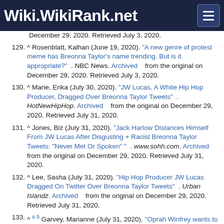Wiki.WikiRank.net
December 29, 2020. Retrieved July 3, 2020.
129. ^ Rosenblatt, Kalhan (June 19, 2020). "A new genre of protest meme has Breonna Taylor's name trending. But is it appropriate?" . NBC News. Archived from the original on December 29, 2020. Retrieved July 3, 2020.
130. ^ Marie, Erika (July 30, 2020). "JW Lucas, A White Hip Hop Producer, Dragged Over Breonna Taylor Tweets" . HotNewHipHop. Archived from the original on December 29, 2020. Retrieved July 31, 2020.
131. ^ Jones, Biz (July 31, 2020). "Jack Harlow Distances Himself From JW Lucas After Disgusting + Racist Breonna Taylor Tweets: 'Never Met Or Spoken' " . www.sohh.com. Archived from the original on December 29, 2020. Retrieved July 31, 2020.
132. ^ Lee, Sasha (July 31, 2020). "Hip Hop Producer JW Lucas Dragged On Twitter Over Breonna Taylor Tweets" . Urban Islandz. Archived from the original on December 29, 2020. Retrieved July 31, 2020.
133. ^ a b Garvey, Marianne (July 31, 2020). "Oprah Winfrey wants to be marching in honor of Breonna Taylor" . CNN. Archived from the original on December 29, 2020. Retrieved August 2, 2020.
134. ^ Austin, Emma (August 7, 2020). "Breonna Taylor's Oprah Winfrey Magazine cover going up on billboards around Louisville" . The